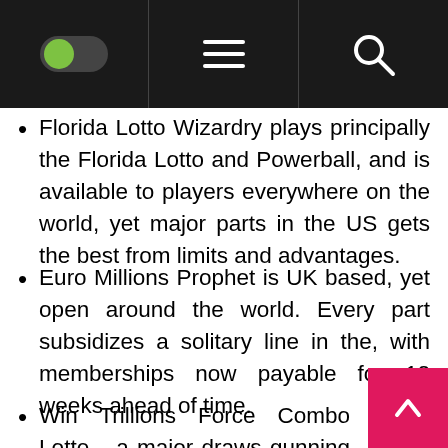[Navigation bar with toggle switch, hamburger menu, and search icon]
Florida Lotto Wizardry plays principally the Florida Lotto and Powerball, and is available to players everywhere on the world, yet major parts in the US gets the best from limits and advantages.
Euro Millions Prophet is UK based, yet open around the world. Every part subsidizes a solitary line in the, with memberships now payable for 12 weeks ahead of time.
Win Trillions Force Combo Lotto a major draws gunning for the greatest